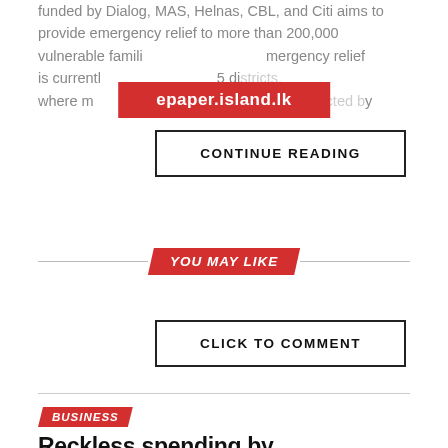funded by Dialog, MAS, Helnas, CBL, and Citi aims to provide emergency relief to more than 200,000 vulnerable families. The emergency relief is currently being distributed across 25 districts, where more than 200,000 families are expected to
epaper.island.lk
CONTINUE READING
YOU MAY LIKE
CLICK TO COMMENT
BUSINESS
Reckless spending by governments and public sector created debt crisis – Prof. Lakshman Watawala